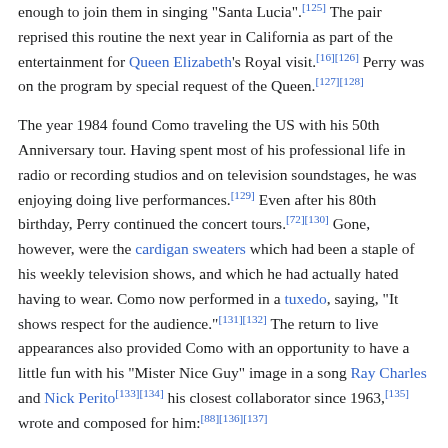enough to join them in singing "Santa Lucia".[125] The pair reprised this routine the next year in California as part of the entertainment for Queen Elizabeth's Royal visit.[16][126] Perry was on the program by special request of the Queen.[127][128]
The year 1984 found Como traveling the US with his 50th Anniversary tour. Having spent most of his professional life in radio or recording studios and on television soundstages, he was enjoying doing live performances.[129] Even after his 80th birthday, Perry continued the concert tours.[72][130] Gone, however, were the cardigan sweaters which had been a staple of his weekly television shows, and which he had actually hated having to wear. Como now performed in a tuxedo, saying, "It shows respect for the audience."[131][132] The return to live appearances also provided Como with an opportunity to have a little fun with his "Mister Nice Guy" image in a song Ray Charles and Nick Perito[133][134] his closest collaborator since 1963,[135] wrote and composed for him:[88][136][137]
It doesn't take a guy equipped with ESP, to see what's cookin' with your curiosity!
Is "Mister Nice Guy" just a press agent's pitch? his dearest friends